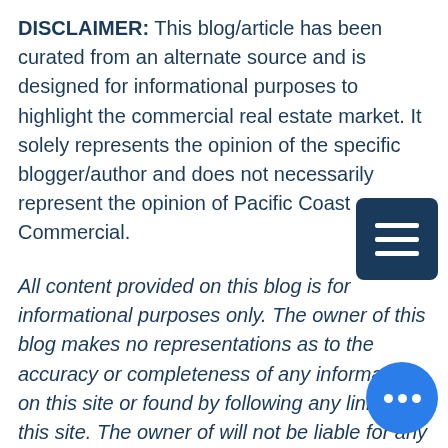DISCLAIMER: This blog/article has been curated from an alternate source and is designed for informational purposes to highlight the commercial real estate market. It solely represents the opinion of the specific blogger/author and does not necessarily represent the opinion of Pacific Coast Commercial.
All content provided on this blog is for informational purposes only. The owner of this blog makes no representations as to the accuracy or completeness of any information on this site or found by following any link on this site.  The owner of will not be liable for any errors or omissions in this information nor the availability of this information. owner will not be liable for any losses,